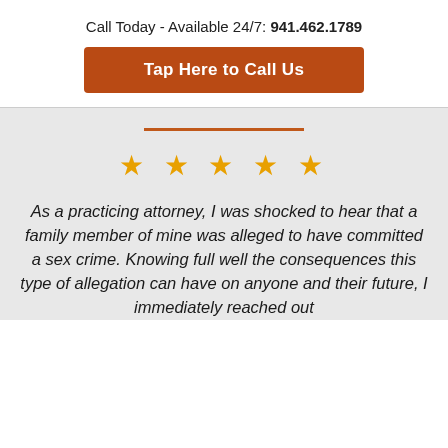Call Today - Available 24/7: 941.462.1789
Tap Here to Call Us
★ ★ ★ ★ ★
As a practicing attorney, I was shocked to hear that a family member of mine was alleged to have committed a sex crime. Knowing full well the consequences this type of allegation can have on anyone and their future, I immediately reached out to William...